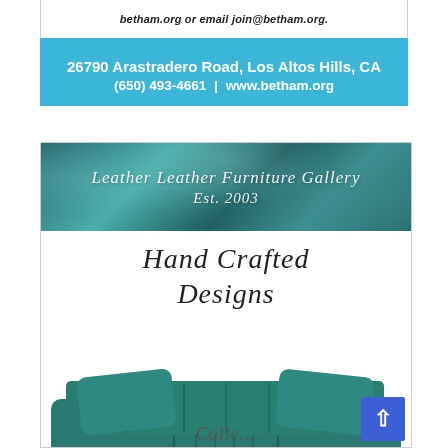betham.org or email join@betham.org.
[Figure (infographic): Blue banner with white bold text: 26790 Arastradero Road, Los Altos Hills, CA (650) 493-4661 | www.betham.org]
[Figure (infographic): Leather Leather Furniture Gallery advertisement. Teal marble header with italic serif text: Leather Leather Furniture Gallery / Est. 2003. White section with cursive text: Hand Crafted Designs. Image of a teal velvet sofa with channel tufting and chrome legs. Partial cursive text at bottom. Blue scroll-to-top button in lower right corner.]